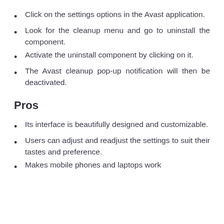Click on the settings options in the Avast application.
Look for the cleanup menu and go to uninstall the component.
Activate the uninstall component by clicking on it.
The Avast cleanup pop-up notification will then be deactivated.
Pros
Its interface is beautifully designed and customizable.
Users can adjust and readjust the settings to suit their tastes and preference.
Makes mobile phones and laptops work